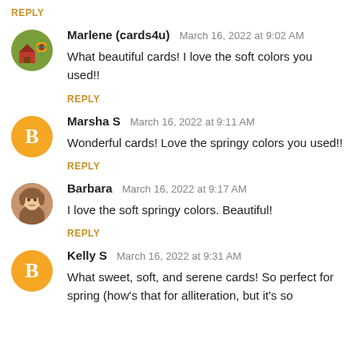REPLY
Marlene (cards4u)   March 16, 2022 at 9:02 AM
What beautiful cards! I love the soft colors you used!!
REPLY
Marsha S   March 16, 2022 at 9:11 AM
Wonderful cards! Love the springy colors you used!!
REPLY
Barbara   March 16, 2022 at 9:17 AM
I love the soft springy colors. Beautiful!
REPLY
Kelly S   March 16, 2022 at 9:31 AM
What sweet, soft, and serene cards! So perfect for spring (how's that for alliteration, but it's so